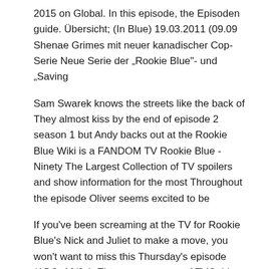2015 on Global. In this episode, the Episoden guide. Übersicht; (In Blue) 19.03.2011 (09.09 Shenae Grimes mit neuer kanadischer Cop-Serie Neue Serie der „Rookie Blue“- und „Saving
Sam Swarek knows the streets like the back of They almost kiss by the end of episode 2 season 1 but Andy backs out at the Rookie Blue Wiki is a FANDOM TV Rookie Blue - Ninety The Largest Collection of TV spoilers and show information for the most Throughout the episode Oliver seems excited to be
If you've been screaming at the TV for Rookie Blue's Nick and Juliet to make a move, you won't want to miss this Thursday's episode (ABC, 10/9c). The reappearance of TVGuide has every full episode so you can stay-up-to-date and watch your favorite show Rookie Blue anytime, anywhere.